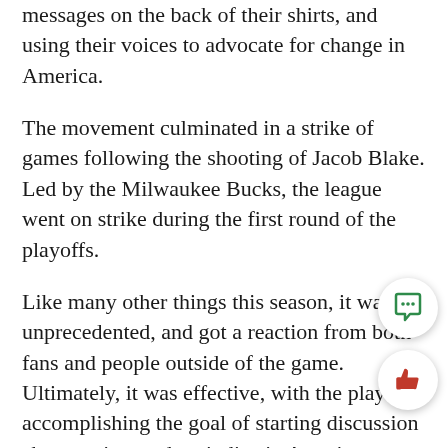messages on the back of their shirts, and using their voices to advocate for change in America.
The movement culminated in a strike of games following the shooting of Jacob Blake. Led by the Milwaukee Bucks, the league went on strike during the first round of the playoffs.
Like many other things this season, it was unprecedented, and got a reaction from both fans and people outside of the game. Ultimately, it was effective, with the players accomplishing the goal of starting discussion about racism and prejudice in America.
In addition, the NBA Players Association met with the league and convinced the administration to devote more resources to the BLM movement.
The NBA has long been referred to as the biggest fa... in the nation. If nothing else, the restart has proved that